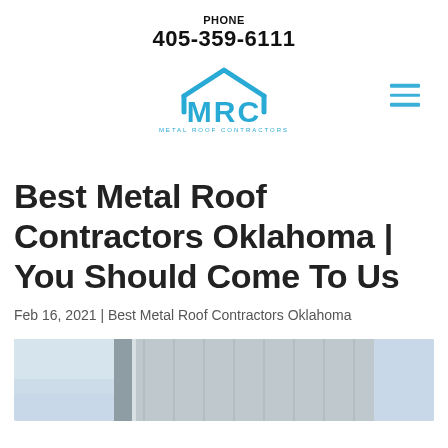PHONE
405-359-6111
[Figure (logo): MRC Metal Roof Contractors logo in blue with a stylized roof/house shape above the letters MRC]
Best Metal Roof Contractors Oklahoma | You Should Come To Us
Feb 16, 2021 | Best Metal Roof Contractors Oklahoma
[Figure (photo): Partial photo of a modern building with metal cladding panels against a blue sky]